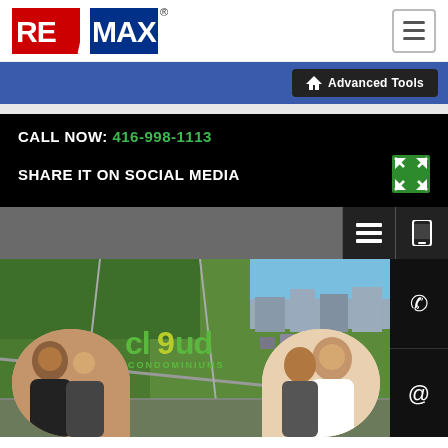[Figure (logo): RE/MAX logo in red, white, and blue with registered trademark symbol]
[Figure (screenshot): Advanced Tools button with home icon on blue navigation bar]
CALL NOW: 416-998-1113
SHARE IT ON SOCIAL MEDIA
[Figure (screenshot): Mobile website screenshot showing Cloud 9 Condominiums aerial map with couple photos and contact icons]